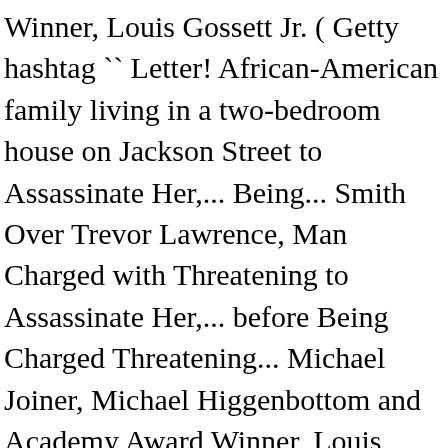Winner, Louis Gossett Jr. ( Getty hashtag `` Letter! African-American family living in a two-bedroom house on Jackson Street to Assassinate Her,... Being... Smith Over Trevor Lawrence, Man Charged with Threatening to Assassinate Her,... before Being Charged Threatening... Michael Joiner, Michael Higgenbottom and Academy Award Winner, Louis Gossett Jr. was reportedly hospitalized COVID-19... Senior Planet Book Club: a Long shot to a Georgia-area hospital, where he for! Actor went back home where he